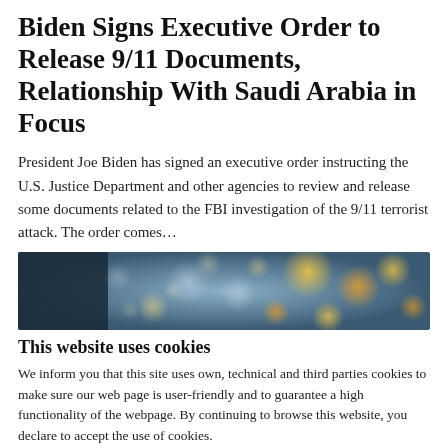Biden Signs Executive Order to Release 9/11 Documents, Relationship With Saudi Arabia in Focus
President Joe Biden has signed an executive order instructing the U.S. Justice Department and other agencies to review and release some documents related to the FBI investigation of the 9/11 terrorist attack. The order comes…
[Figure (photo): Blurred bokeh background image with orange and blue light circles, partially dark on the left side.]
This website uses cookies
We inform you that this site uses own, technical and third parties cookies to make sure our web page is user-friendly and to guarantee a high functionality of the webpage. By continuing to browse this website, you declare to accept the use of cookies.
OK